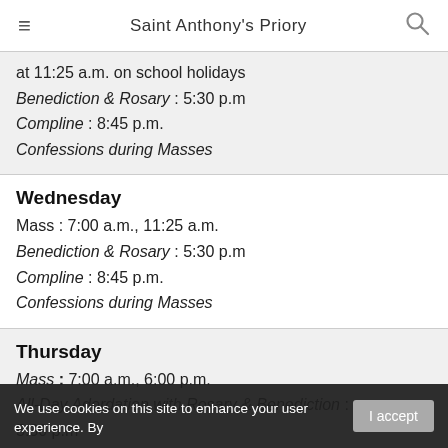Saint Anthony's Priory
at 11:25 a.m. on school holidays
Benediction & Rosary : 5:30 p.m
Compline : 8:45 p.m.
Confessions during Masses
Wednesday
Mass : 7:00 a.m., 11:25 a.m.
Benediction & Rosary : 5:30 p.m
Compline : 8:45 p.m.
Confessions during Masses
Thursday
Mass : 7:00 a.m., 6:00 p.m.
All-Day Adordation with Rosary & Benediction : 5:30 p.m
We use cookies on this site to enhance your user experience. By